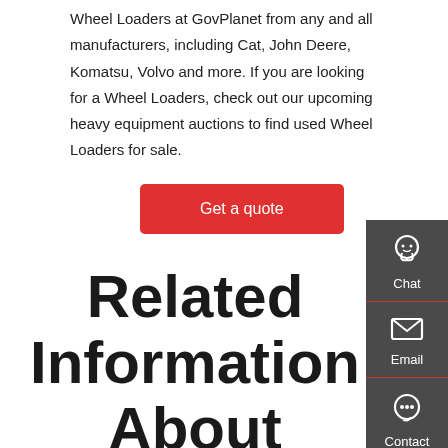Wheel Loaders at GovPlanet from any and all manufacturers, including Cat, John Deere, Komatsu, Volvo and more. If you are looking for a Wheel Loaders, check out our upcoming heavy equipment auctions to find used Wheel Loaders for sale.
Get a quote
Related Information About China 75kw 7660 Kg